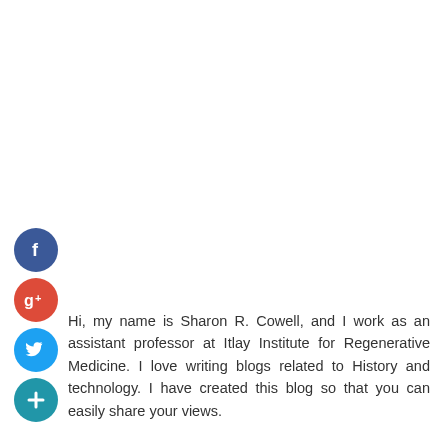[Figure (other): Social media icon circles: Facebook (blue), Google+ (red), Twitter (light blue), Plus/add (teal)]
Hi, my name is Sharon R. Cowell, and I work as an assistant professor at Itlay Institute for Regenerative Medicine. I love writing blogs related to History and technology. I have created this blog so that you can easily share your views.